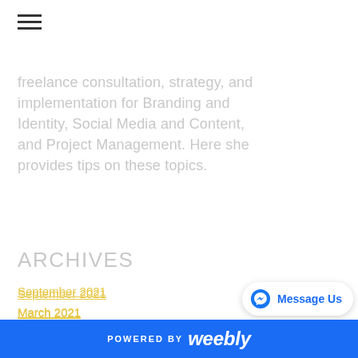freelance consultation, strategy, and implementation for Branding and Identity, Social Media and Content, and Project Management. Here she provides tips on these topics.
ARCHIVES
September 2021
March 2021
February 2021
December 2020
November 2020
POWERED BY weebly